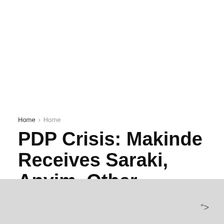Home › Home
PDP Crisis: Makinde Receives Saraki, Anyim, Other Reconciliation Committee Members